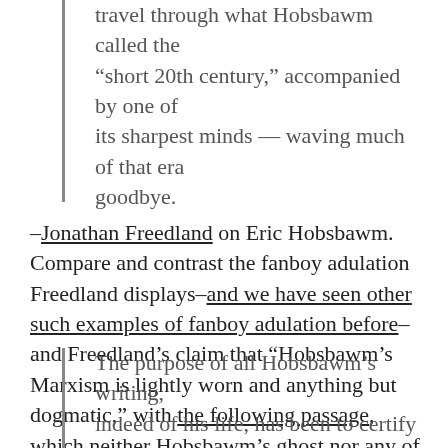travel through what Hobsbawm called the “short 20th century,” accompanied by one of its sharpest minds — waving much of that era goodbye.
–Jonathan Freedland on Eric Hobsbawm. Compare and contrast the fanboy adulation Freedland displays–and we have seen other such examples of fanboy adulation before–and Freedland’s claim that “Hobsbawm’s Marxism is lightly worn and anything but dogmatic,” with the following passage, which neither Hobsbawm’s ghost nor any of his admirers should ever be allowed to live down:
The purpose of all Hobsbawm’s writing, indeed of his life, has been to certify the inevitable triumph of Communism. In the face of whatever might actually have been